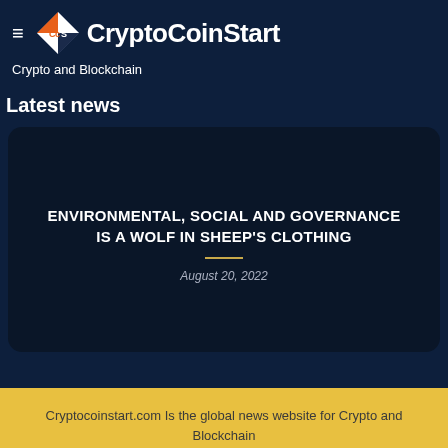CryptoCoinStart — Crypto and Blockchain
Latest news
ENVIRONMENTAL, SOCIAL AND GOVERNANCE IS A WOLF IN SHEEP'S CLOTHING
August 20, 2022
Cryptocoinstart.com Is the global news website for Crypto and Blockchain
Copyright 2022 © Cryptocoinstart